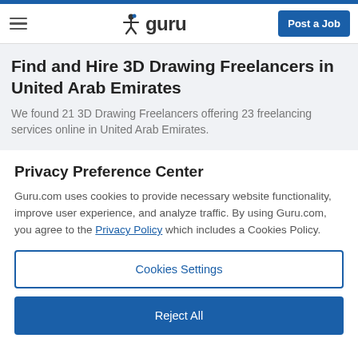guru — Post a Job
Find and Hire 3D Drawing Freelancers in United Arab Emirates
We found 21 3D Drawing Freelancers offering 23 freelancing services online in United Arab Emirates.
Privacy Preference Center
Guru.com uses cookies to provide necessary website functionality, improve user experience, and analyze traffic. By using Guru.com, you agree to the Privacy Policy which includes a Cookies Policy.
Cookies Settings
Reject All